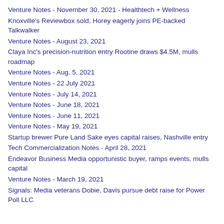Venture Notes - November 30, 2021 - Healthtech + Wellness
Knoxville's Reviewbox sold, Horey eagerly joins PE-backed Talkwalker
Venture Notes - August 23, 2021
Claya Inc's precision-nutrition entry Rootine draws $4.5M, mulls roadmap
Venture Notes - Aug. 5, 2021
Venture Notes - 22 July 2021
Venture Notes - July 14, 2021
Venture Notes - June 18, 2021
Venture Notes - June 11, 2021
Venture Notes - May 19, 2021
Startup brewer Pure Land Sake eyes capital raises, Nashville entry
Tech Commercialization Notes - April 28, 2021
Endeavor Business Media opportunistic buyer, ramps events, mulls capital
Venture Notes - March 19, 2021
Signals: Media veterans Dobie, Davis pursue debt raise for Power Poll LLC